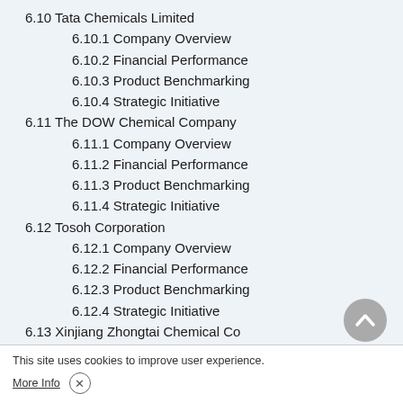6.10 Tata Chemicals Limited
6.10.1 Company Overview
6.10.2 Financial Performance
6.10.3 Product Benchmarking
6.10.4 Strategic Initiative
6.11 The DOW Chemical Company
6.11.1 Company Overview
6.11.2 Financial Performance
6.11.3 Product Benchmarking
6.11.4 Strategic Initiative
6.12 Tosoh Corporation
6.12.1 Company Overview
6.12.2 Financial Performance
6.12.3 Product Benchmarking
6.12.4 Strategic Initiative
6.13 Xinjiang Zhongtai Chemical Co
6.13.1 Company Overview
6.13.2 Financial Performance
6.13.3 Product Benchmarking